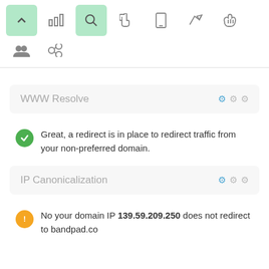[Figure (screenshot): Toolbar row 1 with navigation icons: up arrow (active green), bar chart, magnifier (active green), hand cursor, mobile, rocket, thumbs up]
[Figure (screenshot): Toolbar row 2 with group/people icon and chain-link icon]
WWW Resolve
Great, a redirect is in place to redirect traffic from your non-preferred domain.
IP Canonicalization
No your domain IP 139.59.209.250 does not redirect to bandpad.co